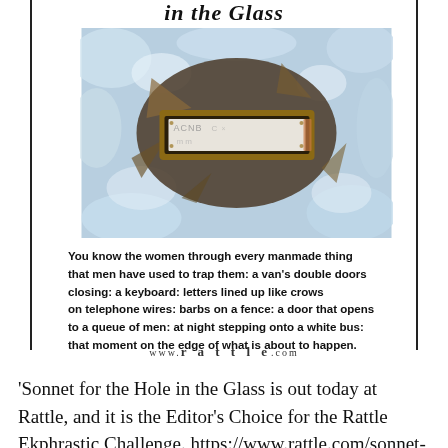in the Glass
[Figure (photo): A photograph showing a broken window pane with a rectangular metallic/brass postal slot or mail slot frame visible through the hole. The broken glass edges are frosted and icy-looking, with blue and white tones. The slot has writing/letters scratched on its surface.]
You know the women through every manmade thing
that men have used to trap them: a van's double doors
closing: a keyboard: letters lined up like crows
on telephone wires: barbs on a fence: a door that opens
to a queue of men: at night stepping onto a white bus:
that moment on the edge of what is about to happen.
www.rattle.com
'Sonnet for the Hole in the Glass is out today at Rattle, and it is the Editor's Choice for the Rattle Ekphrastic Challenge. https://www.rattle.com/sonnet-for-the-hole-